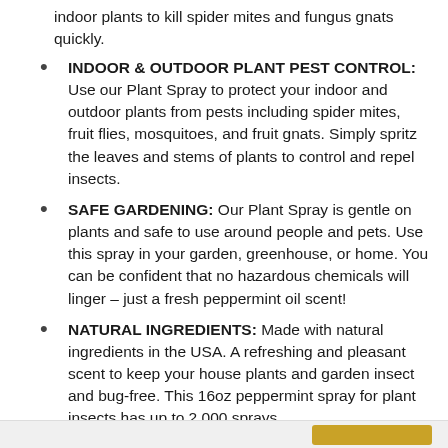indoor plants to kill spider mites and fungus gnats quickly.
INDOOR & OUTDOOR PLANT PEST CONTROL: Use our Plant Spray to protect your indoor and outdoor plants from pests including spider mites, fruit flies, mosquitoes, and fruit gnats. Simply spritz the leaves and stems of plants to control and repel insects.
SAFE GARDENING: Our Plant Spray is gentle on plants and safe to use around people and pets. Use this spray in your garden, greenhouse, or home. You can be confident that no hazardous chemicals will linger – just a fresh peppermint oil scent!
NATURAL INGREDIENTS: Made with natural ingredients in the USA. A refreshing and pleasant scent to keep your house plants and garden insect and bug-free. This 16oz peppermint spray for plant insects has up to 2,000 sprays.
NATURALLY EFFECTIVE. Protect against spider mites, fungus gnats, and plant insects. Using our non-harsh peppermint oil spray formula, it is cruelty-free, biodegradable with natural ingredients. This product is made in the USA.